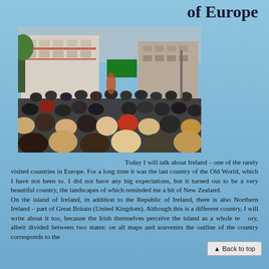of Europe
[Figure (photo): A crowd of people gathered on a busy urban street in front of a large white multi-storey building decorated with red flowers. A performer appears to be in the center of the crowd.]
Today I will talk about Ireland – one of the rarely visited countries in Europe. For a long time it was the last country of the Old World, which I have not been to. I did not have any big expectations, but it turned out to be a very beautiful country, the landscapes of which reminded me a bit of New Zealand.
On the island of Ireland, in addition to the Republic of Ireland, there is also Northern Ireland – part of Great Britain (United Kingdom). Although this is a different country, I will write about it too, because the Irish themselves perceive the island as a whole territory, albeit divided between two states: on all maps and souvenirs the outline of the country corresponds to the